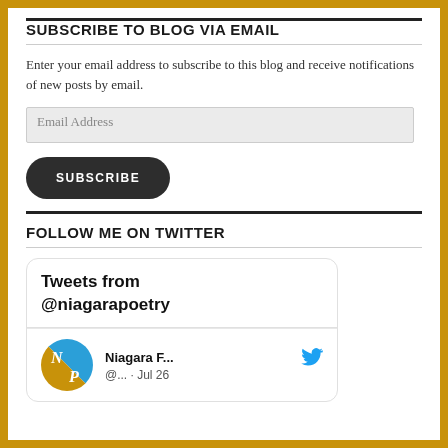SUBSCRIBE TO BLOG VIA EMAIL
Enter your email address to subscribe to this blog and receive notifications of new posts by email.
Email Address
SUBSCRIBE
FOLLOW ME ON TWITTER
[Figure (screenshot): Twitter widget showing 'Tweets from @niagarapoetry' with a tweet from Niagara F... (@... · Jul 26) with a blue Twitter bird icon and avatar showing N/P letters on blue/yellow diagonal background.]